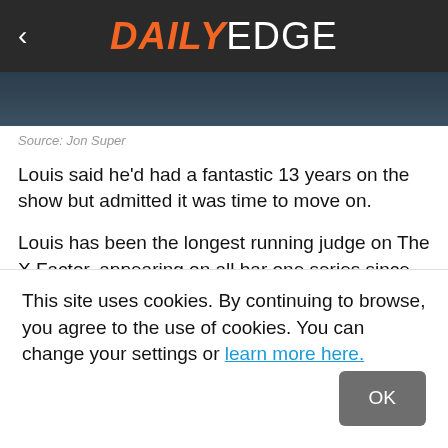DAILY EDGE
[Figure (photo): Dark background image strip, partially visible]
Source: Jon Super
Louis said he’d had a fantastic 13 years on the show but admitted it was time to move on.
Louis has been the longest running judge on The X Factor, appearing on all bar one series since the show began in 2004. He will, though, continue to remain a key talent for Thames and Syco, notably as head
This site uses cookies. By continuing to browse, you agree to the use of cookies. You can change your settings or learn more here.